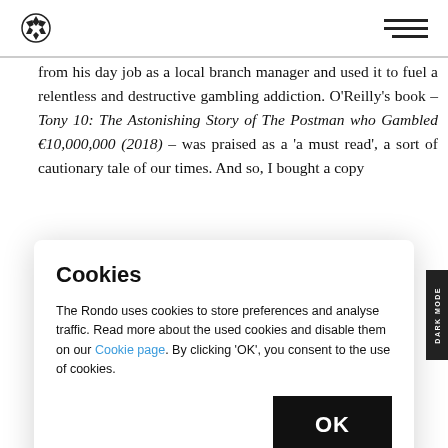[Soccer ball logo] [Hamburger menu]
from his day job as a local branch manager and used it to fuel a relentless and destructive gambling addiction. O'Reilly's book – Tony 10: The Astonishing Story of The Postman who Gambled €10,000,000 (2018) – was praised as a 'a must read', a sort of cautionary tale of our times. And so, I bought a copy
Cookies
The Rondo uses cookies to store preferences and analyse traffic. Read more about the used cookies and disable them on our Cookie page. By clicking 'OK', you consent to the use of cookies.
luck so as to weave a narrative driven by fate, probability, and chance), the figures alone are